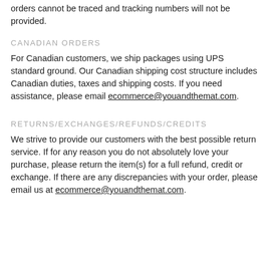orders cannot be traced and tracking numbers will not be provided.
CANADIAN ORDERS
For Canadian customers, we ship packages using UPS standard ground. Our Canadian shipping cost structure includes Canadian duties, taxes and shipping costs. If you need assistance, please email ecommerce@youandthemat.com.
RETURNS/EXCHANGES/REFUNDS/CREDITS
We strive to provide our customers with the best possible return service. If for any reason you do not absolutely love your purchase, please return the item(s) for a full refund, credit or exchange. If there are any discrepancies with your order, please email us at ecommerce@youandthemat.com.